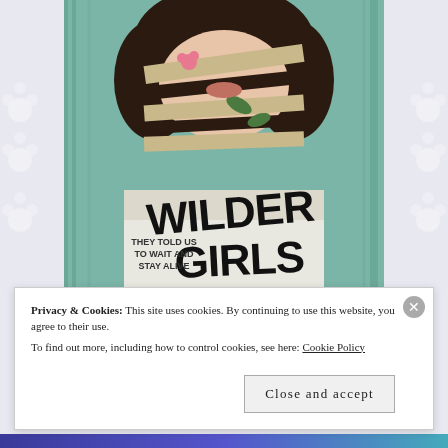[Figure (illustration): Book cover of 'Wilder Girls' by Rory Power. Shows a girl with dark hair whose face is partially obscured by plant tendrils/vines. Large hand-lettered title 'WILDER GIRLS' in black. Tagline reads 'THEY TOLD US TO WAIT AND STAY ALIVE'. Teal/green background.]
Privacy & Cookies: This site uses cookies. By continuing to use this website, you agree to their use.
To find out more, including how to control cookies, see here: Cookie Policy
Close and accept